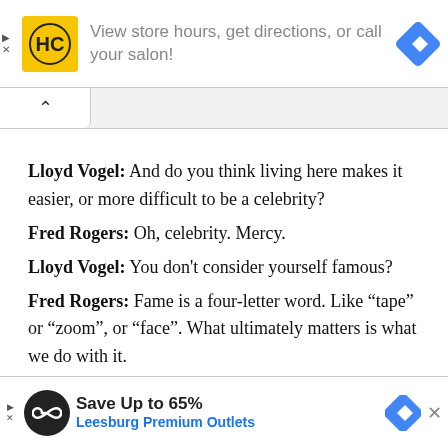[Figure (screenshot): Advertisement banner: HC (Hair Club) logo with text 'View store hours, get directions, or call your salon!' and a navigation diamond icon]
Lloyd Vogel: And do you think living here makes it easier, or more difficult to be a celebrity?
Fred Rogers: Oh, celebrity. Mercy.
Lloyd Vogel: You don't consider yourself famous?
Fred Rogers: Fame is a four-letter word. Like "tape" or "zoom", or "face". What ultimately matters is what we do with it.
Lloyd Vogel: And what are you doing with it?
Fred Rogers: We are trying to give children positive
[Figure (screenshot): Advertisement banner: Infinity symbol circle logo with text 'Save Up to 65%' and 'Leesburg Premium Outlets' with navigation diamond icon and X close button]